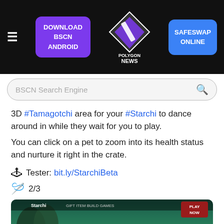DOWNLOAD BSCN ANDROID | POLYGON NEWS | SAFESWAP ONLINE
BSCN Search Engine
3D #Tamagotchi area for your #Starchi to dance around in while they wait for you to play.
You can click on a pet to zoom into its health status and nurture it right in the crate.
🕹 Tester: bit.ly/StarchiBeta
🪄 2/3
[Figure (screenshot): Starchi game screenshot showing colorful 3D creatures in a forest environment with a play button overlay]